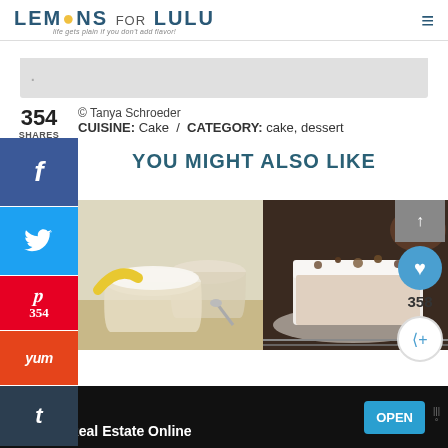LEMONS FOR LULU - life gets plain if you don't add flavor!
© Tanya Schroeder
CUISINE: Cake / CATEGORY: cake, dessert
354 SHARES
YOU MIGHT ALSO LIKE
[Figure (photo): Banana pudding dessert served in glass cups topped with whipped cream and banana slices]
[Figure (photo): Frosted cake or bread slice topped with crushed nuts on a plate]
Fund That Flip - Invest In Real Estate Online - OPEN